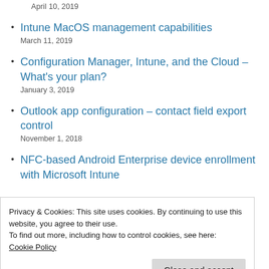April 10, 2019
Intune MacOS management capabilities
March 11, 2019
Configuration Manager, Intune, and the Cloud – What's your plan?
January 3, 2019
Outlook app configuration – contact field export control
November 1, 2018
NFC-based Android Enterprise device enrollment with Microsoft Intune
Privacy & Cookies: This site uses cookies. By continuing to use this website, you agree to their use.
To find out more, including how to control cookies, see here:
Cookie Policy
Close and accept
July 17, 2019